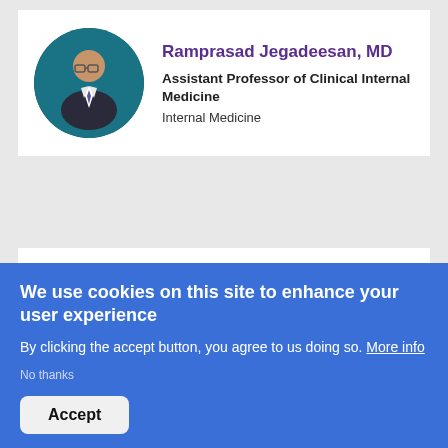[Figure (photo): Circular headshot of Dr. Ramprasad Jegadeesan on teal background]
Ramprasad Jegadeesan, MD
Assistant Professor of Clinical Internal Medicine
Internal Medicine
[Figure (photo): Circular headshot of Dr. Debra Klamen on teal background, partially visible]
Debra Klamen, MD, MHPE
Senior Associate Dean for Education &
We use cookies on this site to enhance your user experience
By clicking the accept button, you agree to us doing so. More info
No thanks
Accept